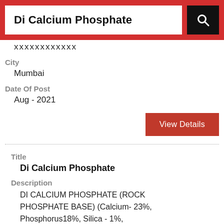Di Calcium Phosphate
xxxxxxxxxxxx
City
Mumbai
Date Of Post
Aug - 2021
View Details
Title
Di Calcium Phosphate
Description
DI CALCIUM PHOSPHATE (ROCK PHOSPHATE BASE) (Calcium- 23%, Phosphorus18%, Silica - 1%,